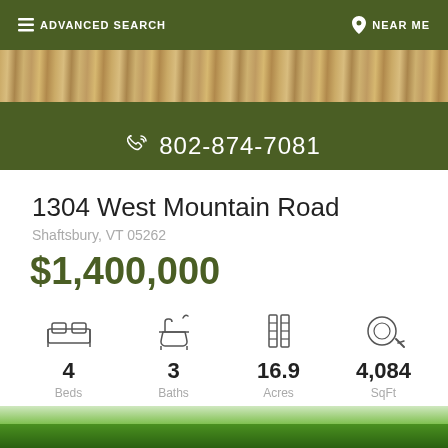ADVANCED SEARCH | NEAR ME
[Figure (photo): Wooden log background photo banner]
802-874-7081
1304 West Mountain Road
Shaftsbury, VT 05262
$1,400,000
4 Beds | 3 Baths | 16.9 Acres | 4,084 SqFt
[Figure (photo): Landscape photo with trees and sky at bottom of page]